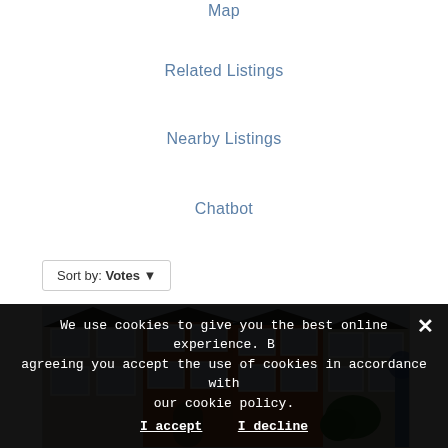Map
Related Listings
Nearby Listings
Chatbot
Sort by: Votes ▼
[Figure (photo): Row of brick semi-detached houses with white-framed bay windows and dark tiled roofs]
We use cookies to give you the best online experience. By agreeing you accept the use of cookies in accordance with our cookie policy.
I accept   I decline